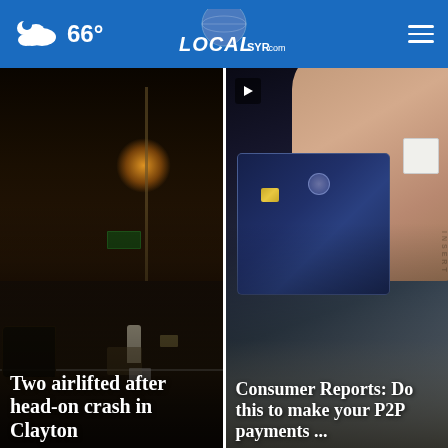66° LOCALsyr.com
[Figure (photo): Night scene of a head-on car crash with emergency personnel and damaged vehicles. Headline overlay: 'Two airlifted after head-on crash in Clayton']
[Figure (photo): Close-up of a hand holding a credit/debit card near a card reader. Headline overlay: 'Consumer Reports: Do this to make your P2P payments ...']
Top Stories ›
[Figure (screenshot): Advertisement: GMR Web Team - Urgent Care Marketing with Contact Us button]